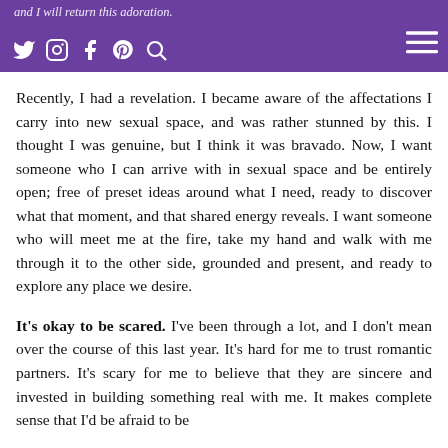and I will return this adoration.
Recently, I had a revelation. I became aware of the affectations I carry into new sexual space, and was rather stunned by this. I thought I was genuine, but I think it was bravado. Now, I want someone who I can arrive with in sexual space and be entirely open; free of preset ideas around what I need, ready to discover what that moment, and that shared energy reveals. I want someone who will meet me at the fire, take my hand and walk with me through it to the other side, grounded and present, and ready to explore any place we desire.
It's okay to be scared. I've been through a lot, and I don't mean over the course of this last year. It's hard for me to trust romantic partners. It's scary for me to believe that they are sincere and invested in building something real with me. It makes complete sense that I'd be afraid to be